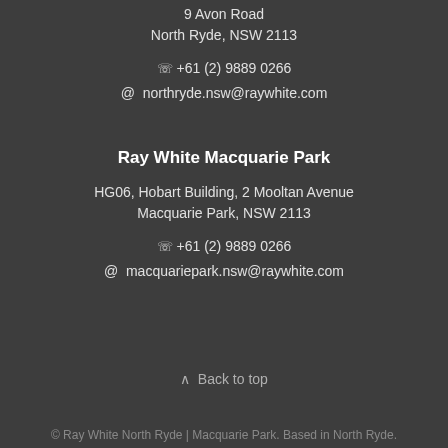9 Avon Road
North Ryde, NSW 2113
📞 +61 (2) 9889 0266
@ northryde.nsw@raywhite.com
Ray White Macquarie Park
HG06, Hobart Building, 2 Mooltan Avenue
Macquarie Park, NSW 2113
📞 +61 (2) 9889 0266
@ macquariepark.nsw@raywhite.com
Back to top
© Ray White North Ryde | Macquarie Park. Based in North Ryde.